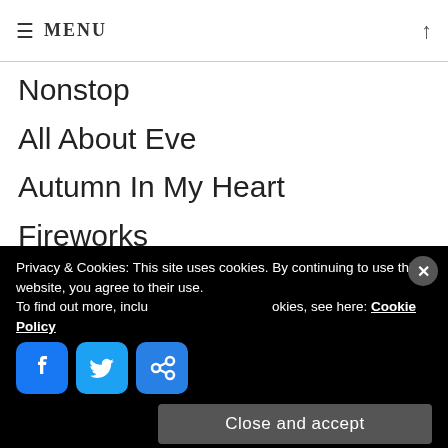≡ MENU
Nonstop
All About Eve
Autumn In My Heart
Fireworks
Taejo Wang Geon
First Love of a Royal Prince
Say It with Your Eyes
Look Back in Anger
Mom and Sister
Privacy & Cookies: This site uses cookies. By continuing to use this website, you agree to their use. To find out more, including how to control cookies, see here: Cookie Policy